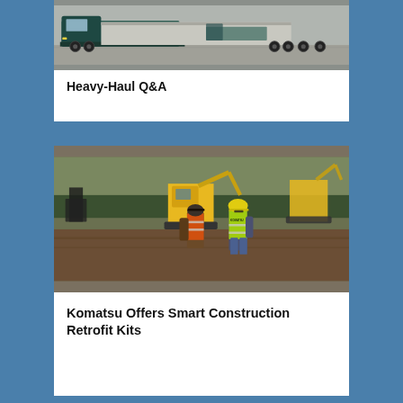[Figure (photo): Heavy haul trucks parked on a gravel lot, viewed from the side, tractor-trailer combination]
Heavy-Haul Q&A
[Figure (photo): Two construction workers in safety vests and hard hats on a muddy construction site with Komatsu excavators in the background]
Komatsu Offers Smart Construction Retrofit Kits